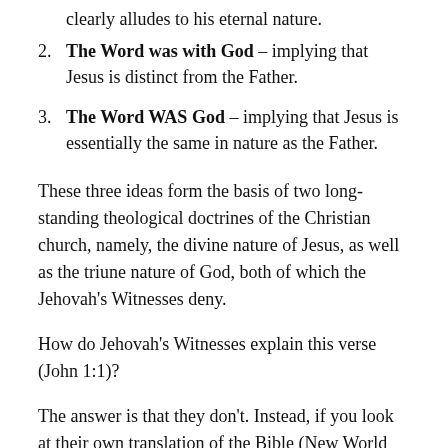The Word was with God – implying that Jesus is distinct from the Father.
The Word WAS God – implying that Jesus is essentially the same in nature as the Father.
These three ideas form the basis of two long-standing theological doctrines of the Christian church, namely, the divine nature of Jesus, as well as the triune nature of God, both of which the Jehovah's Witnesses deny.
How do Jehovah's Witnesses explain this verse (John 1:1)?
The answer is that they don't. Instead, if you look at their own translation of the Bible (New World Translation), you will see John 1:1 stated this way: